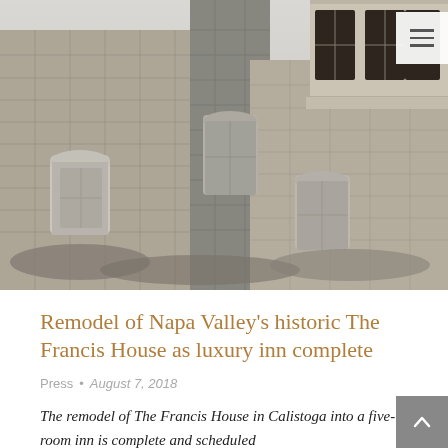[Figure (photo): Black and white photograph of a historic stone building (The Francis House) in Calistoga, Napa Valley, showing arched windows, bay windows, and stone masonry facade.]
Remodel of Napa Valley's historic The Francis House as luxury inn complete
Press • August 7, 2018
The remodel of The Francis House in Calistoga into a five-room inn is complete and scheduled